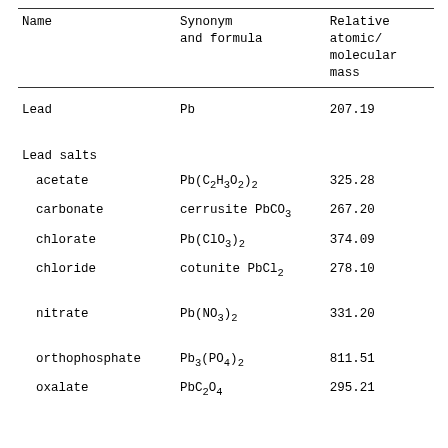| Name | Synonym and formula | Relative atomic/ molecular mass |
| --- | --- | --- |
| Lead | Pb | 207.19 |
| Lead salts |  |  |
|   acetate | Pb(C2H3O2)2 | 325.28 |
|   carbonate | cerrusite PbCO3 | 267.20 |
|   chlorate | Pb(ClO3)2 | 374.09 |
|   chloride | cotunite PbCl2 | 278.10 |
|   nitrate | Pb(NO3)2 | 331.20 |
|   orthophosphate | Pb3(PO4)2 | 811.51 |
|   oxalate | PbC2O4 | 295.21 |